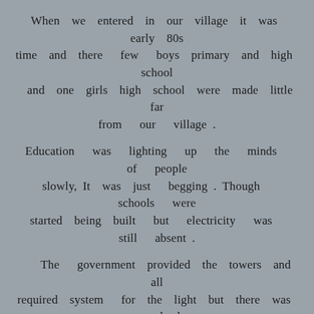When we entered in our village it was early 80s time and there few boys primary and high school and one girls high school were made little far from our village .
Education was lighting up the minds of people slowly, It was just begging . Though schools were started being built but electricity was still absent .
The government provided the towers and all required system for the light but there was no check that "are villagers getting the benefit from the government's efforts because real owners of villages were these landlords who were not allowing to supply the electricity to villages though their mansions had the light facility since years !
Coming to the topic finally that when i started my